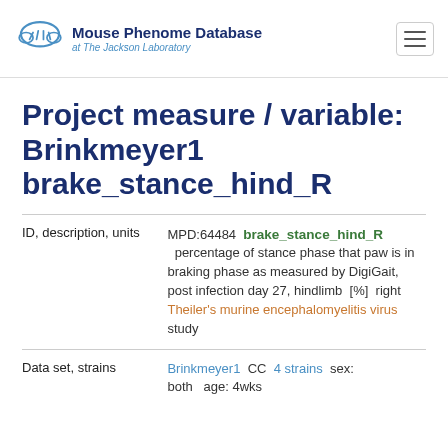[Figure (logo): Mouse Phenome Database at The Jackson Laboratory logo with cloud/paw icon]
Project measure / variable: Brinkmeyer1 brake_stance_hind_R
| ID, description, units | MPD:64484  brake_stance_hind_R  percentage of stance phase that paw is in braking phase as measured by DigiGait, post infection day 27, hindlimb  [%]  right  Theiler's murine encephalomyelitis virus study |
| Data set, strains | Brinkmeyer1  CC  4 strains  sex: both  age: 4wks |